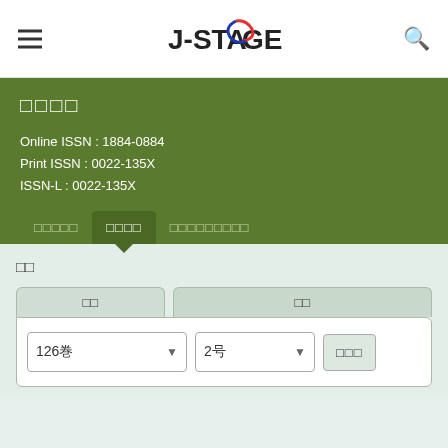J-STAGE
□□□□
Online ISSN : 1884-0884
Print ISSN : 0022-135X
ISSN-L : 0022-135X
□□□□□ □□□□ □□□□□□□□□
□□
□□  □□
126巻  2号  □□□